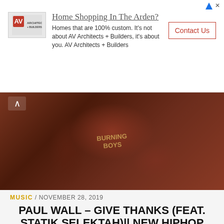[Figure (screenshot): Advertisement banner for AV Architects + Builders with headline 'Home Shopping In The Arden?', logo, body text, and Contact Us button]
[Figure (photo): Close-up photo of a person wearing a dark reddish-brown jacket with a graphic shirt underneath visible]
MUSIC / NOVEMBER 28, 2019
PAUL WALL – GIVE THANKS (FEAT. STATIK SELEKTAH)|| NEW HIPHOP SONGS
Title: GIVE THANKS Artist: PAUL WALL  Album: GIVE THANKS Genre: Hip-Hop Comment: New HipHop Songs